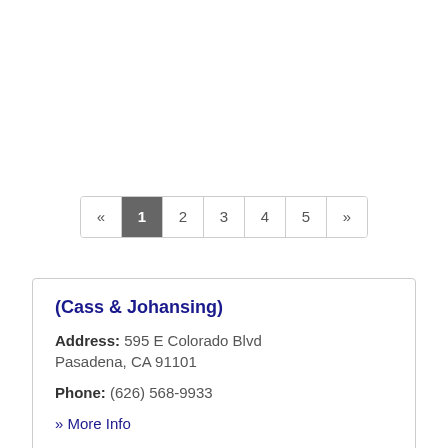« 1 2 3 4 5 »
(Cass & Johansing)
Address: 595 E Colorado Blvd Pasadena, CA 91101
Phone: (626) 568-9933
» More Info